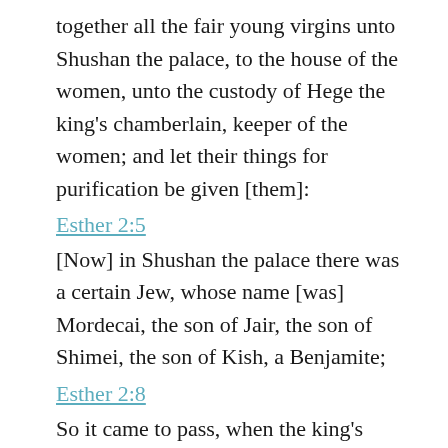together all the fair young virgins unto Shushan the palace, to the house of the women, unto the custody of Hege the king's chamberlain, keeper of the women; and let their things for purification be given [them]:
Esther 2:5
[Now] in Shushan the palace there was a certain Jew, whose name [was] Mordecai, the son of Jair, the son of Shimei, the son of Kish, a Benjamite;
Esther 2:8
So it came to pass, when the king's commandment and his decree was heard, and when many maidens were gathered together unto Shushan the palace, to the custody of Hegai, that Esther was brought also unto the